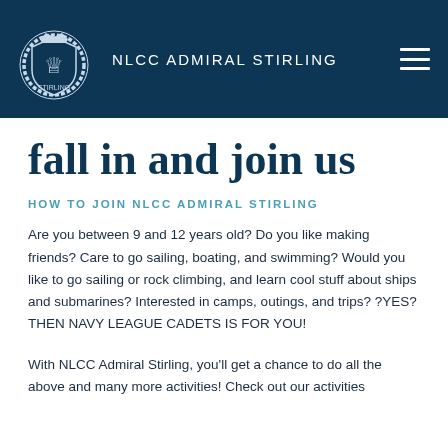NLCC ADMIRAL STIRLING
fall in and join us
HOW TO JOIN NLCC ADMIRAL STIRLING
Are you between 9 and 12 years old? Do you like making friends? Care to go sailing, boating, and swimming? Would you like to go sailing or rock climbing, and learn cool stuff about ships and submarines? Interested in camps, outings, and trips? ?YES? THEN NAVY LEAGUE CADETS IS FOR YOU!
With NLCC Admiral Stirling, you'll get a chance to do all the above and many more activities! Check out our activities